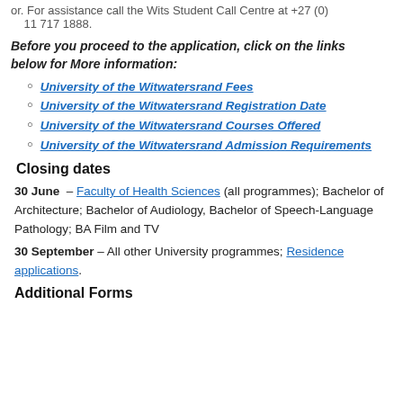or. For assistance call the Wits Student Call Centre at +27 (0) 11 717 1888.
Before you proceed to the application, click on the links below for More information:
University of the Witwatersrand Fees
University of the Witwatersrand Registration Date
University of the Witwatersrand Courses Offered
University of the Witwatersrand Admission Requirements
Closing dates
30 June – Faculty of Health Sciences (all programmes); Bachelor of Architecture; Bachelor of Audiology, Bachelor of Speech-Language Pathology; BA Film and TV
30 September – All other University programmes; Residence applications.
Additional Forms